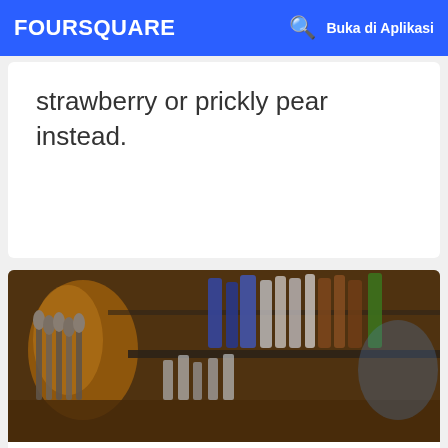FOURSQUARE  Buka di Aplikasi
strawberry or prickly pear instead.
[Figure (photo): Interior bar photo showing shelves of liquor bottles with warm ambient lighting]
29. Rendevous
100 N San Francisco St (at E Aspen Ave), Flagstaff, AZ
Warung Kopi · Downtown Flagstaff · 40 tips dan ulasan